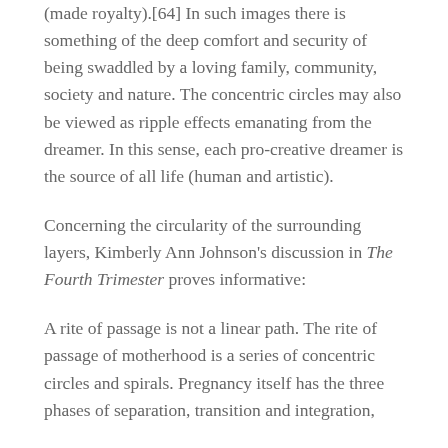(made royalty).[64] In such images there is something of the deep comfort and security of being swaddled by a loving family, community, society and nature. The concentric circles may also be viewed as ripple effects emanating from the dreamer. In this sense, each pro-creative dreamer is the source of all life (human and artistic).
Concerning the circularity of the surrounding layers, Kimberly Ann Johnson's discussion in The Fourth Trimester proves informative:
A rite of passage is not a linear path. The rite of passage of motherhood is a series of concentric circles and spirals. Pregnancy itself has the three phases of separation, transition and integration,